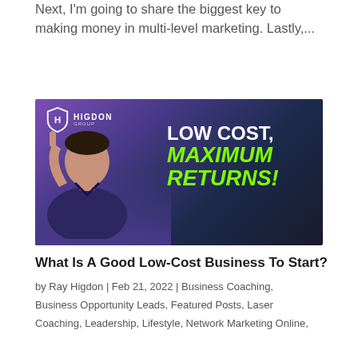Next, I'm going to share the biggest key to making money in multi-level marketing. Lastly,...
[Figure (photo): Promotional image for Higdon Group featuring a man in a dark patterned shirt pointing upward with one finger, with the text 'LOW COST, MAXIMUM RETURNS!' overlaid in white and green on a purple-to-dark background. Higdon Group logo appears in top left.]
What Is A Good Low-Cost Business To Start?
by Ray Higdon | Feb 21, 2022 | Business Coaching, Business Opportunity Leads, Featured Posts, Laser Coaching, Leadership, Lifestyle, Network Marketing Online,